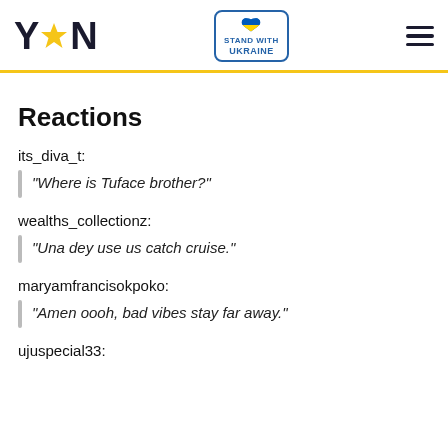YEN — STAND WITH UKRAINE
Reactions
its_diva_t:
"Where is Tuface brother?"
wealths_collectionz:
"Una dey use us catch cruise."
maryamfrancisokpoko:
"Amen oooh, bad vibes stay far away."
ujuspecial33: